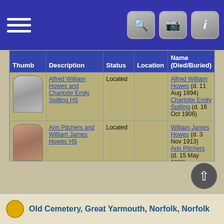| Thumb | Description | Status | Location | Name (Died/Buried) |
| --- | --- | --- | --- | --- |
| [image] | Alfred William Howes and Charlotte Emily Spilling HS | Located |  | Alfred William Howes (d. 11 Aug 1894)
Charlotte Emily Spilling (d. 16 Oct 1906) |
| [image] | Ann Pitchers and William James Howes HS | Located |  | William James Howes (d. 3 Nov 1913)
Ann Pitchers (d. 15 May 1888) |
| [image] | Robert John Howes Emily Wright HS | Located |  | Robert John Howes (d. 16 Feb 1905)
Emily Wright (d. 11 Nov 1915) |
Old Cemetery, Great Yarmouth, Norfolk, Norfolk